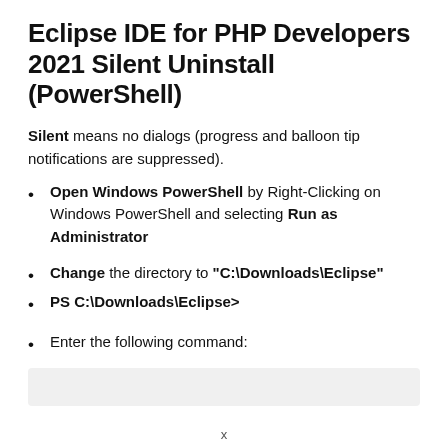Eclipse IDE for PHP Developers 2021 Silent Uninstall (PowerShell)
Silent means no dialogs (progress and balloon tip notifications are suppressed).
Open Windows PowerShell by Right-Clicking on Windows PowerShell and selecting Run as Administrator
Change the directory to “C:\Downloads\Eclipse”
PS C:\Downloads\Eclipse>
Enter the following command:
[Figure (screenshot): Gray code box, empty or containing a command]